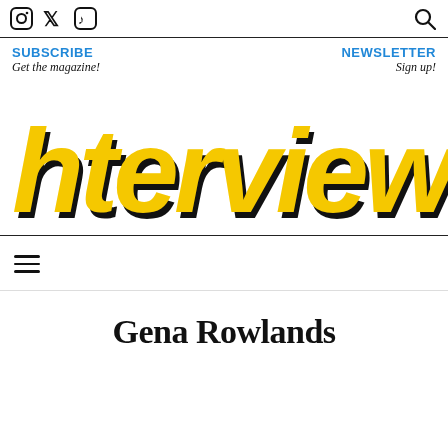Instagram Twitter TikTok Search
SUBSCRIBE
Get the magazine!
NEWSLETTER
Sign up!
[Figure (logo): Interview Magazine logo in yellow brush-script lettering with black shadow on white background]
☰ (hamburger menu)
Gena Rowlands